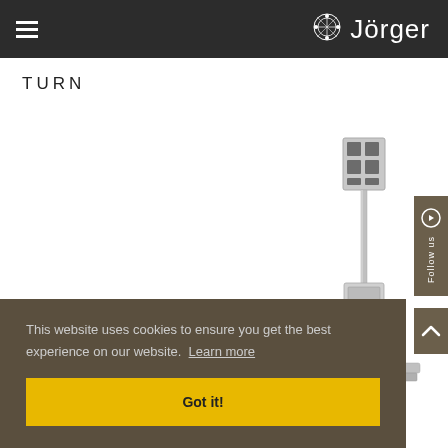Jörger
TURN
[Figure (photo): Chrome bathroom fixture/faucet column product photo on white background]
This website uses cookies to ensure you get the best experience on our website. Learn more
Got it!